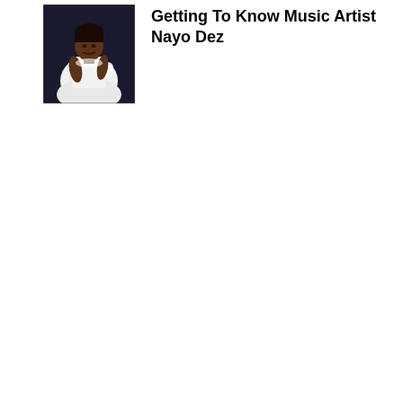[Figure (photo): A person dressed in white clothing, appears to be at a formal event or wedding, holding white flowers, photographed from a seated or standing position.]
Getting To Know Music Artist Nayo Dez